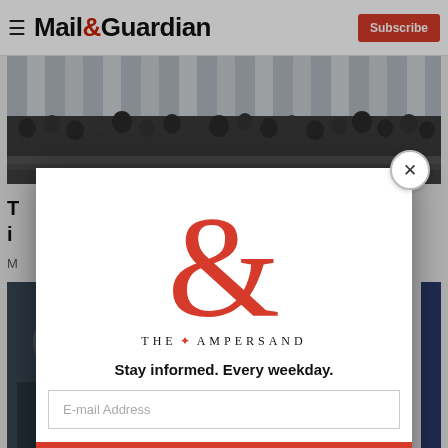Mail&Guardian | Subscribe
[Figure (photo): Large crowd of people gathered on steps of a building with classical columns]
T... i...
M...
[Figure (photo): Partial photo strip below article text]
[Figure (screenshot): Modal popup: The Ampersand newsletter signup. Logo shows stylized red ampersand with text THE AMPERSAND. Tagline: Stay informed. Every weekday. Email input field. Signup now button. Close (X) button in top right corner.]